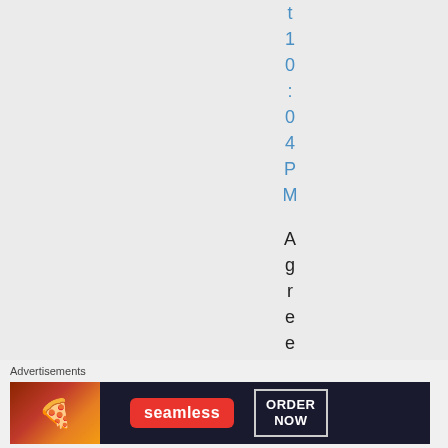t 10:04PM Agreed w
Advertisements
[Figure (screenshot): Seamless food delivery advertisement banner with pizza image, Seamless logo in red, and ORDER NOW button]